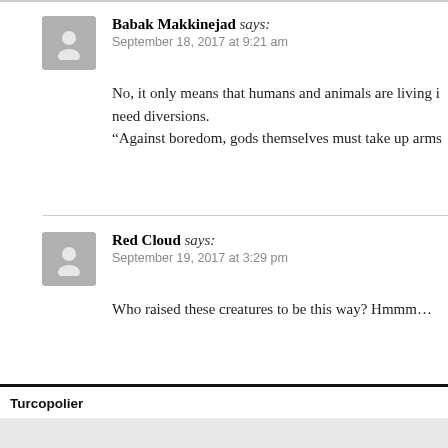Babak Makkinejad says: September 18, 2017 at 9:21 am
No, it only means that humans and animals are living in... need diversions. “Against boredom, gods themselves must take up arms...
Red Cloud says: September 19, 2017 at 3:29 pm
Who raised these creatures to be this way? Hmmm…
Turcopolier